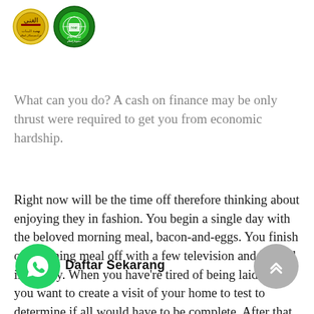[Figure (logo): Two circular logos side by side: left is a golden/yellow circular emblem with Arabic text, right is a green circular emblem with globe and book motif and Arabic text]
What can you do? A cash on finance may be only thrust were required to get you from economic hardship.
Right now will be the time off therefore thinking about enjoying they in fashion. You begin a single day with the beloved morning meal, bacon-and-eggs. You finish off morning meal off with a few television and normal inactivity. When you have're tired of being laid back, you want to create a visit of your home to test to determine if all would have to be complete. After that is definitely completed, an individual head out of your home for a little, possibly take a look at something so Daftar Sekarang le you are completely.
[Figure (logo): Green WhatsApp circular button with phone icon]
Daftar Sekarang
[Figure (other): Grey circular scroll-to-top button with double up chevron arrows]